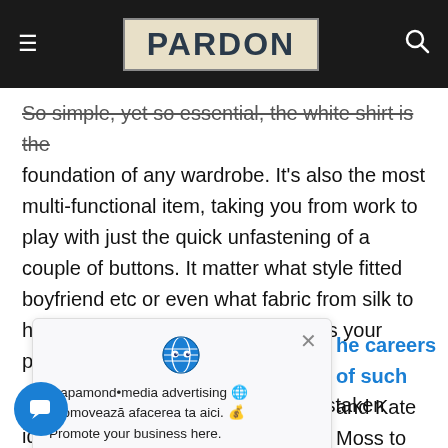PARDON
So simple, yet so essential, the white shirt is the foundation of any wardrobe. It's also the most multi-functional item, taking you from work to play with just the quick unfastening of a couple of buttons. It matter what style fitted boyfriend etc or even what fabric from silk to heavy cotton go with whatever suits your personal style best.
[Figure (screenshot): Ad popup overlay with globe icon, close X button, and text: mapamondmedia advertising. Promovează afacerea ta aici. Promote your business here.]
he careers of such and Kate Moss to cast a standard and make a nt years.
must explain to you how all this mistaken idea of denouncing